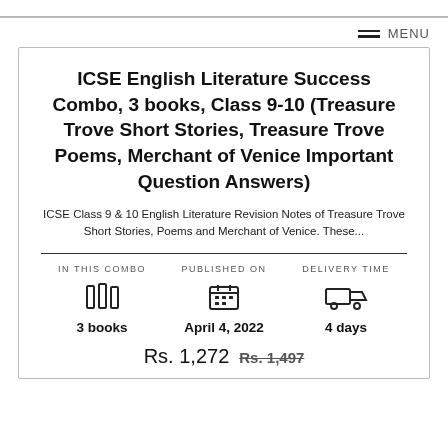MENU
ICSE English Literature Success Combo, 3 books, Class 9-10 (Treasure Trove Short Stories, Treasure Trove Poems, Merchant of Venice Important Question Answers)
ICSE Class 9 & 10 English Literature Revision Notes of Treasure Trove Short Stories, Poems and Merchant of Venice. These...
| IN THIS COMBO | PUBLISHED ON | DELIVERY TIME |
| --- | --- | --- |
| 3 books | April 4, 2022 | 4 days |
Rs. 1,272  Rs. 1,497